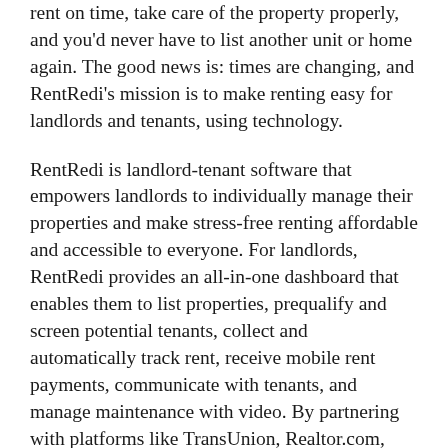rent on time, take care of the property properly, and you'd never have to list another unit or home again. The good news is: times are changing, and RentRedi's mission is to make renting easy for landlords and tenants, using technology.
RentRedi is landlord-tenant software that empowers landlords to individually manage their properties and make stress-free renting affordable and accessible to everyone. For landlords, RentRedi provides an all-in-one dashboard that enables them to list properties, prequalify and screen potential tenants, collect and automatically track rent, receive mobile rent payments, communicate with tenants, and manage maintenance with video. By partnering with platforms like TransUnion, Realtor.com, Doorsteps, and TSYS, we create the best experience possible.
Working with small to mid-sized landlords, RentRedi is different because we talk to our landlords and listen to their problems. We've built our technology based on real landlord needs.